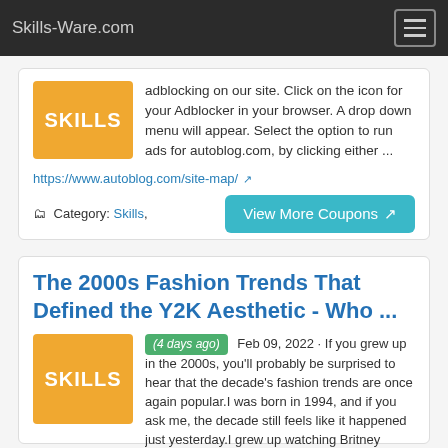Skills-Ware.com
adblocking on our site. Click on the icon for your Adblocker in your browser. A drop down menu will appear. Select the option to run ads for autoblog.com, by clicking either ...
https://www.autoblog.com/site-map/
Category: Skills,
View More Coupons
The 2000s Fashion Trends That Defined the Y2K Aesthetic - Who ...
(4 days ago) Feb 09, 2022 · If you grew up in the 2000s, you'll probably be surprised to hear that the decade's fashion trends are once again popular.I was born in 1994, and if you ask me, the decade still feels like it happened just yesterday.I grew up watching Britney Spears music videos and vying to get my hands on basically everything Paris Hilton